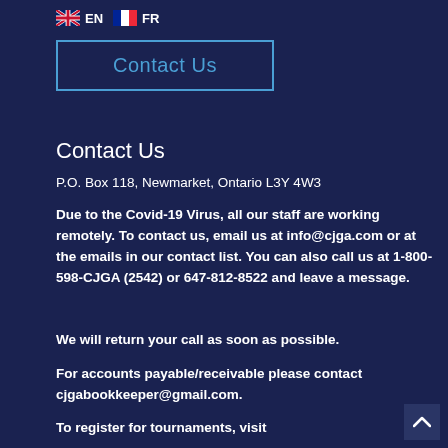EN  FR
Contact Us
Contact Us
P.O. Box 118, Newmarket, Ontario L3Y 4W3
Due to the Covid-19 Virus, all our staff are working remotely. To contact us, email us at info@cjga.com or at the emails in our contact list. You can also call us at 1-800-598-CJGA (2542) or 647-812-8522 and leave a message.
We will return your call as soon as possible.
For accounts payable/receivable please contact cjgabookkeeper@gmail.com.
To register for tournaments, visit